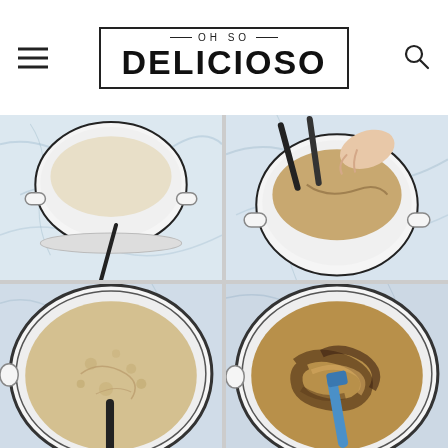OH SO DELICIOSO
[Figure (photo): Four step-by-step cooking photos showing a white enamel pot on a marble surface. Top-left: white pot with light-colored batter. Top-right: hand with dark spatula stirring brown batter in pot. Bottom-left: top-down view of bubbly tan batter being mixed. Bottom-right: top-down view of darker swirled batter with blue spatula.]